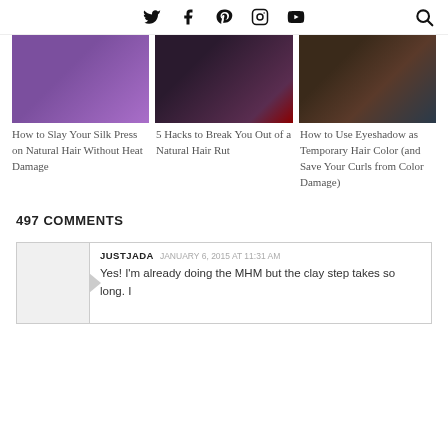Social icons: Twitter, Facebook, Pinterest, Instagram, YouTube, Search
[Figure (photo): Woman in purple top with natural curly hair and necklace]
[Figure (photo): Close-up of natural black curly hair on red fabric]
[Figure (photo): Hand holding hair product bottle, woman with curly teal-highlighted hair]
How to Slay Your Silk Press on Natural Hair Without Heat Damage
5 Hacks to Break You Out of a Natural Hair Rut
How to Use Eyeshadow as Temporary Hair Color (and Save Your Curls from Color Damage)
497 COMMENTS
JUSTJADA  JANUARY 6, 2015 AT 11:31 AM
Yes! I'm already doing the MHM but the clay step takes so long. I